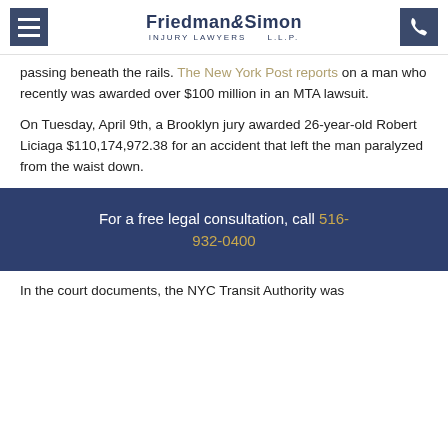Friedman & Simon Injury Lawyers L.L.P.
passing beneath the rails. The New York Post reports on a man who recently was awarded over $100 million in an MTA lawsuit.
On Tuesday, April 9th, a Brooklyn jury awarded 26-year-old Robert Liciaga $110,174,972.38 for an accident that left the man paralyzed from the waist down.
For a free legal consultation, call 516-932-0400
In the court documents, the NYC Transit Authority was